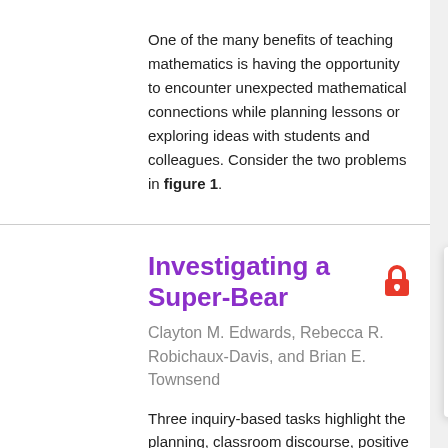One of the many benefits of teaching mathematics is having the opportunity to encounter unexpected mathematical connections while planning lessons or exploring ideas with students and colleagues. Consider the two problems in figure 1.
Investigating a Super-Bear
Clayton M. Edwards, Rebecca R. Robichaux-Davis, and Brian E. Townsend
Three inquiry-based tasks highlight the planning, classroom discourse, positive results, and growth in one class's journey.